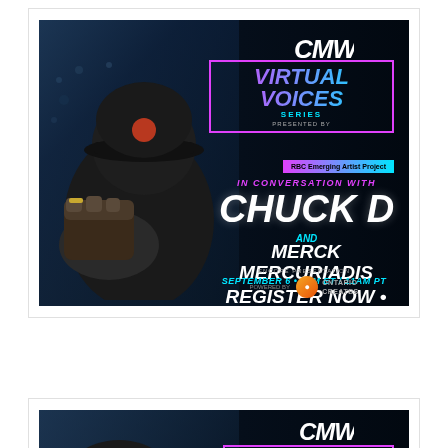[Figure (illustration): CMW Virtual Voices Series event promotional banner. Features a man in a black cap and t-shirt raising his fist toward the camera at a concert venue with crowd in background. Text overlay reads: CMW logo, VIRTUAL VOICES SERIES Presented by RBC Emerging Artist Project, IN CONVERSATION WITH CHUCK D AND MERCK MERCURIADIS, ENCORE PRESENTATION, SEPTEMBER 6 • 2PM ET / 11AM PT, REGISTER NOW • FREE, Powered by Ontario Creates.]
[Figure (illustration): Partial view of a second identical CMW Virtual Voices Series promotional banner, cropped to show only the top portion including the CMW logo and beginning of the VIRTUAL VOICES text.]